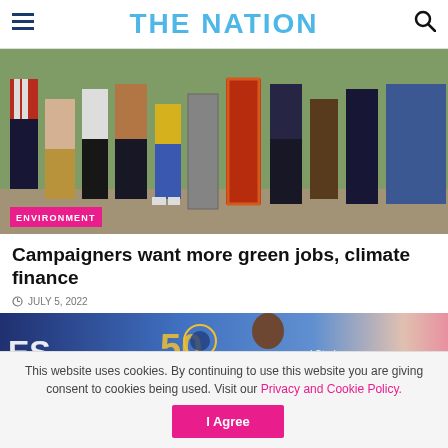THE NATION
[Figure (photo): Group of people standing together outdoors, showing from waist down. Colorful clothing visible. Pink 'ENVIRONMENT' badge overlay at bottom left.]
Campaigners want more green jobs, climate finance
JULY 5, 2022
[Figure (photo): Partial view of a banner or backdrop showing '50 YEARS' text with golden numbers and 'Stories' text, blue background with a person partially visible.]
This website uses cookies. By continuing to use this website you are giving consent to cookies being used. Visit our Privacy and Cookie Policy.